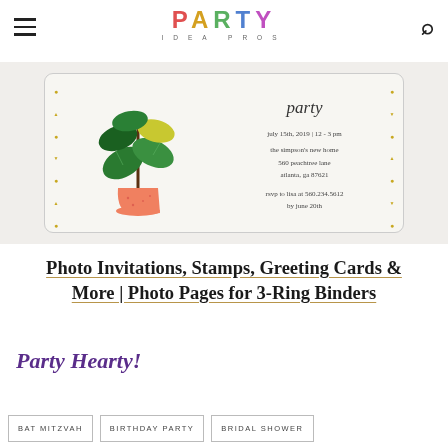PARTY IDEA PROS
[Figure (photo): Party invitation card with illustrated tropical plant in pink pot, text reads: july 15th, 2019 | 12 - 3 pm, the simpson's new home, 560 peachtree lane, atlanta, ga 87621, rsvp to lisa at 560.234.5612 by june 20th. Gold confetti dot decoration on sides.]
Photo Invitations, Stamps, Greeting Cards & More | Photo Pages for 3-Ring Binders
Party Hearty!
BAT MITZVAH
BIRTHDAY PARTY
BRIDAL SHOWER